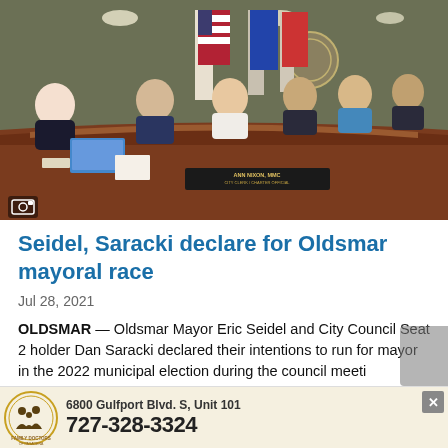[Figure (photo): City council meeting room with officials seated at a curved wooden dais. An American flag and other flags are visible in the background. A nameplate reads 'ANN NIXON, MMC – CITY CLERK / CHARTER OFFICIAL'. A camera icon is visible in the lower left corner of the photo.]
Seidel, Saracki declare for Oldsmar mayoral race
Jul 28, 2021
OLDSMAR — Oldsmar Mayor Eric Seidel and City Council Seat 2 holder Dan Saracki declared their intentions to run for mayor in the 2022 municipal election during the council meeti
[Figure (infographic): Advertisement for Family Doctors of Pasadena. Address: 6800 Gulfport Blvd. S, Unit 101. Phone: 727-328-3324. Features a logo with silhouettes of a family inside a circle.]